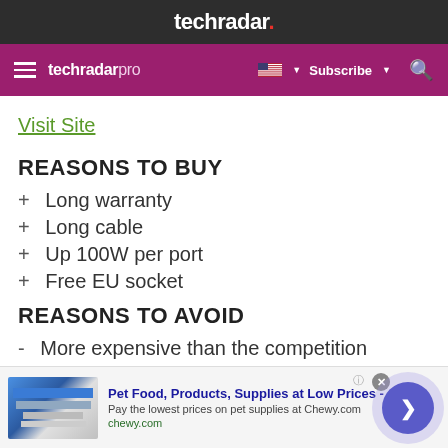techradar.
techradar pro  Subscribe
Visit Site
REASONS TO BUY
+ Long warranty
+ Long cable
+ Up 100W per port
+ Free EU socket
REASONS TO AVOID
- More expensive than the competition
EZquest may be a new name to most of our readers
[Figure (screenshot): Advertisement banner: Pet Food, Products, Supplies at Low Prices - chewy.com]